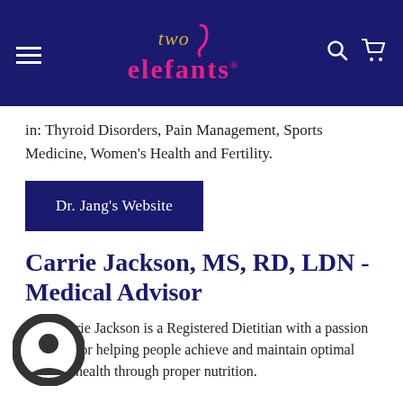[Figure (logo): Two Elefants logo with hamburger menu, search, and cart icons on dark navy background]
in: Thyroid Disorders, Pain Management, Sports Medicine, Women's Health and Fertility.
Dr. Jang's Website
Carrie Jackson, MS, RD, LDN - Medical Advisor
Carrie Jackson is a Registered Dietitian with a passion for helping people achieve and maintain optimal health through proper nutrition.